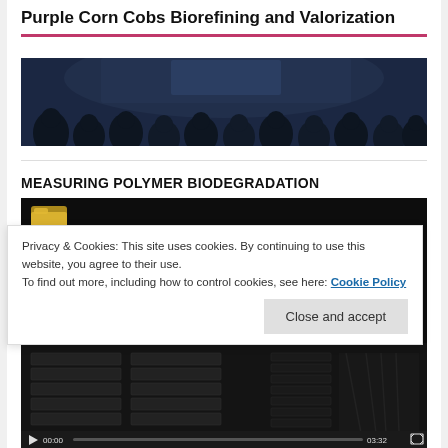Purple Corn Cobs Biorefining and Valorization
[Figure (photo): Dark silhouette photo of an audience seated in a conference or lecture setting, viewed from behind, with lighting in the background.]
MEASURING POLYMER BIODEGRADATION
[Figure (screenshot): Video player showing a dark screen with a folder icon visible at the top left, and video controls at the bottom including play button, time 00:00, progress bar, time 03:32, and fullscreen button.]
Privacy & Cookies: This site uses cookies. By continuing to use this website, you agree to their use.
To find out more, including how to control cookies, see here: Cookie Policy
Close and accept